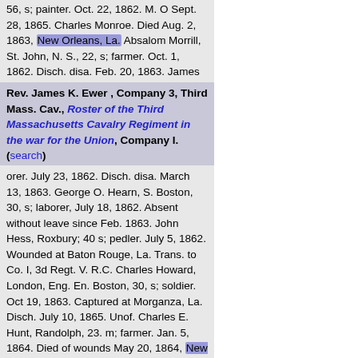56, s; painter. Oct. 22, 1862. M. O Sept. 28, 1865. Charles Monroe. Died Aug. 2, 1863, New Orleans, La. Absalom Morrill, St. John, N. S., 22, s; farmer. Oct. 1, 1862. Disch. disa. Feb. 20, 1863. James Noonan, Cha
Rev. James K. Ewer , Company 3, Third Mass. Cav., Roster of the Third Massachusetts Cavalry Regiment in the war for the Union, Company I. (search)
orer. July 23, 1862. Disch. disa. March 13, 1863. George O. Hearn, S. Boston, 30, s; laborer, July 18, 1862. Absent without leave since Feb. 1863. John Hess, Roxbury; 40 s; pedler. July 5, 1862. Wounded at Baton Rouge, La. Trans. to Co. I, 3d Regt. V. R.C. Charles Howard, London, Eng. En. Boston, 30, s; soldier. Oct 19, 1863. Captured at Morganza, La. Disch. July 10, 1865. Unof. Charles E. Hunt, Randolph, 23. m; farmer. Jan. 5, 1864. Died of wounds May 20, 1864, New Orleans, La. Edward S. James. En. Lynnfield, 44, Aug. 5, 1862. Died Sept. 7, 1862, Alexandria, Va. while the company was in 33rd Regt. Unof. Albert Jones, Charlestown 21, m; fireman. Dec. 3, 1863. Disch. June 13, 1865, Prior serv. Walter A. Jones, Randolph, 18; farmer. June 9,